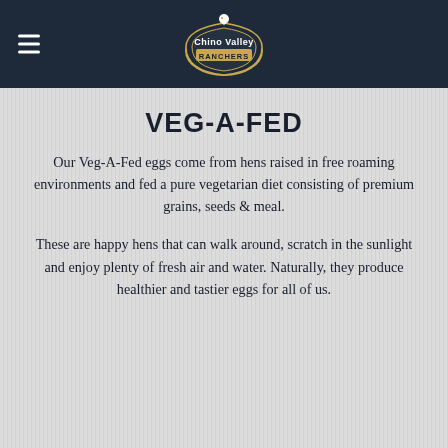Chino Valley Ranchers
VEG-A-FED
Our Veg-A-Fed eggs come from hens raised in free roaming environments and fed a pure vegetarian diet consisting of premium grains, seeds & meal.
These are happy hens that can walk around, scratch in the sunlight and enjoy plenty of fresh air and water. Naturally, they produce healthier and tastier eggs for all of us.